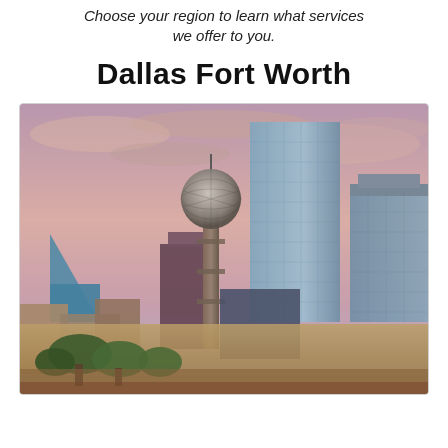Choose your region to learn what services we offer to you.
Dallas Fort Worth
[Figure (photo): Photograph of the Dallas Fort Worth skyline at sunset/dusk, featuring Reunion Tower with its distinctive spherical geodesic dome, a tall glass skyscraper, several other downtown buildings, and trees in the foreground under a pink and purple sky.]